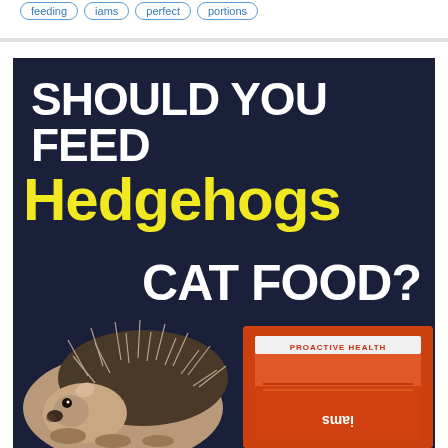feeding   iams   perfect   portions
[Figure (illustration): Promotional graphic with dark navy background showing text 'SHOULD YOU FEED Hedgehogs CAT FOOD?' in large bold white and yellow lettering, with a hedgehog photo on the lower left and a cat food package (Iams) on the lower right.]